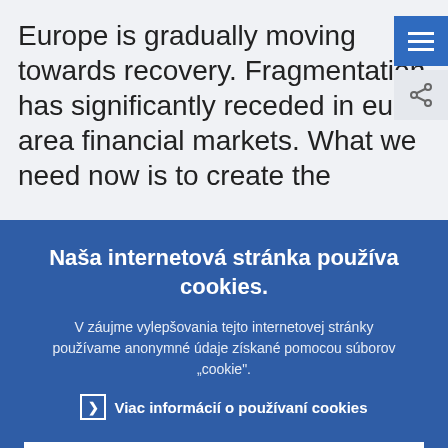Europe is gradually moving towards recovery. Fragmentation has significantly receded in euro area financial markets. What we need now is to create the
Naša internetová stránka používa cookies.
V záujme vylepšovania tejto internetovej stránky používame anonymné údaje získané pomocou súborov „cookie".
> Viac informácií o používaní cookies
✓ Rozumiem a akceptujem používanie cookies
✕ Neakceptujem používanie cookies